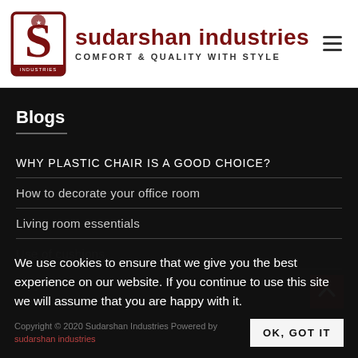[Figure (logo): Sudarshan Industries logo with red S emblem and text 'sudarshan industries' and tagline 'COMFORT & QUALITY WITH STYLE']
Blogs
WHY PLASTIC CHAIR IS A GOOD CHOICE?
How to decorate your office room
Living room essentials
Use of cushions
Why Furniture
We use cookies to ensure that we give you the best experience on our website. If you continue to use this site we will assume that you are happy with it.
Copyright © 2020 Sudarshan Industries Powered by sudarshan industries